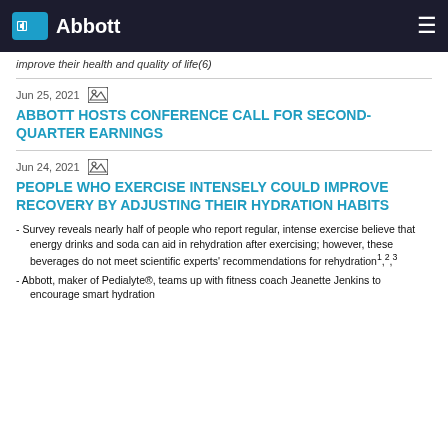Abbott
improve their health and quality of life(6)
Jun 25, 2021
ABBOTT HOSTS CONFERENCE CALL FOR SECOND-QUARTER EARNINGS
Jun 24, 2021
PEOPLE WHO EXERCISE INTENSELY COULD IMPROVE RECOVERY BY ADJUSTING THEIR HYDRATION HABITS
- Survey reveals nearly half of people who report regular, intense exercise believe that energy drinks and soda can aid in rehydration after exercising; however, these beverages do not meet scientific experts' recommendations for rehydration¹,²,³
- Abbott, maker of Pedialyte®, teams up with fitness coach Jeanette Jenkins to encourage smart hydration